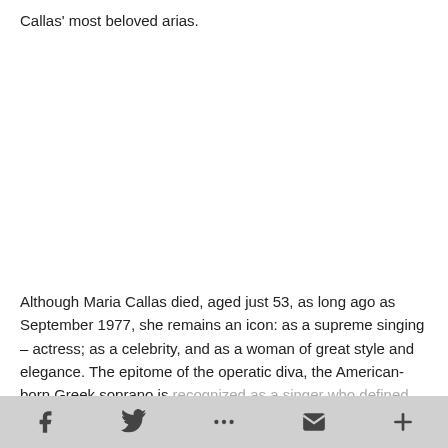Callas' most beloved arias.
Although Maria Callas died, aged just 53, as long ago as September 1977, she remains an icon: as a supreme singing – actress; as a celebrity, and as a woman of great style and elegance. The epitome of the operatic diva, the American-born Greek soprano is recognized as a singer who defined, and even redefined opera in
f  𝕏  ✉  +